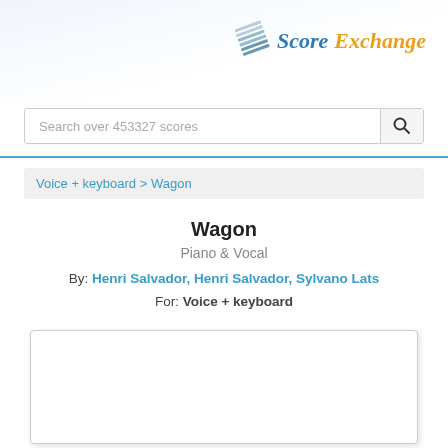[Figure (logo): Score Exchange logo with music score icon, 'Score' in blue italic and 'Exchange' in orange italic]
Search over 453327 scores
Voice + keyboard > Wagon
Wagon
Piano & Vocal
By: Henri Salvador, Henri Salvador, Sylvano Lats
For: Voice + keyboard
[Figure (other): White score preview box with rounded corners and shadow, content not visible]